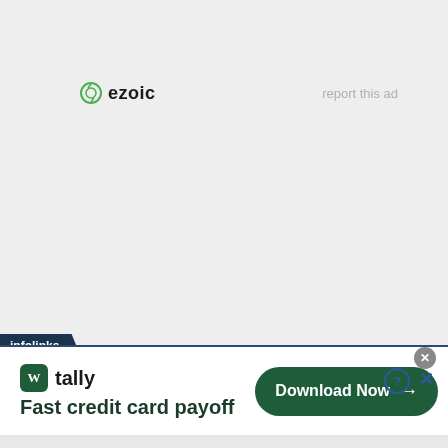[Figure (logo): Ezoic logo with green circular icon and bold 'ezoic' text]
report this ad
[Figure (logo): infolinks badge in dark navy blue]
[Figure (infographic): Tally advertisement banner: Tally logo with green W icon, text 'Fast credit card payoff', green 'Download Now' button with arrow]